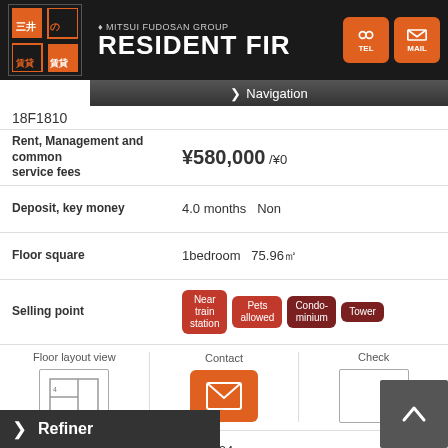Mitsui Fudosan Group RESIDENT FIR
18F1810
Rent, Management and common service fees ¥580,000 /¥0
Deposit, key money 4.0 months Non
Floor square 1bedroom 75.96㎡
Selling point Near train station Pets allowed Condominium Tower
Floor layout view Contact Check
Number of floors / Room number 17F1704
Rent, Management and common service fees ¥640,000 /¥0
Deposit, key money 4.0 months Non
Floor square 1bedroom 77.68㎡